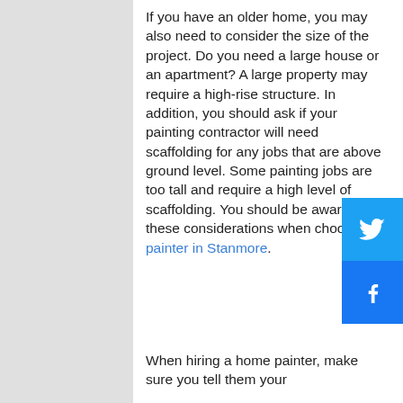If you have an older home, you may also need to consider the size of the project. Do you need a large house or an apartment? A large property may require a high-rise structure. In addition, you should ask if your painting contractor will need scaffolding for any jobs that are above ground level. Some painting jobs are too tall and require a high level of scaffolding. You should be aware of these considerations when choosing a painter in Stanmore.
When hiring a home painter, make sure you tell them your